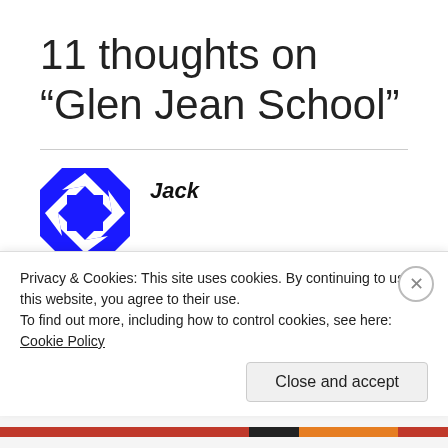11 thoughts on “Glen Jean School”
Jack
FEBRUARY 2, 2017 AT 7:30 PM
Privacy & Cookies: This site uses cookies. By continuing to use this website, you agree to their use.
To find out more, including how to control cookies, see here: Cookie Policy
Close and accept